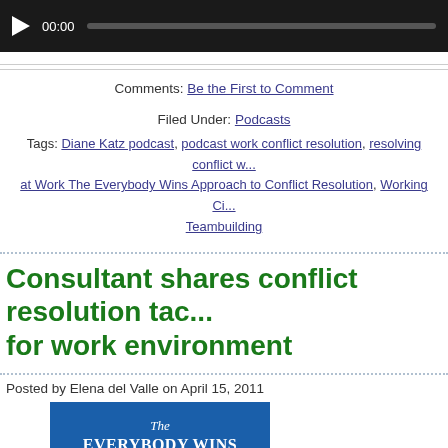[Figure (other): Audio player bar with play button, time display 00:00, and progress bar on dark background]
Comments: Be the First to Comment
Filed Under: Podcasts
Tags: Diane Katz podcast, podcast work conflict resolution, resolving conflict w... at Work The Everybody Wins Approach to Conflict Resolution, Working Ci... Teambuilding
Consultant shares conflict resolution tac... for work environment
Posted by Elena del Valle on April 15, 2011
[Figure (photo): Book cover for The Everybody Wins Approach to Conflict Resolution showing 'Win' in large white letters on blue background]